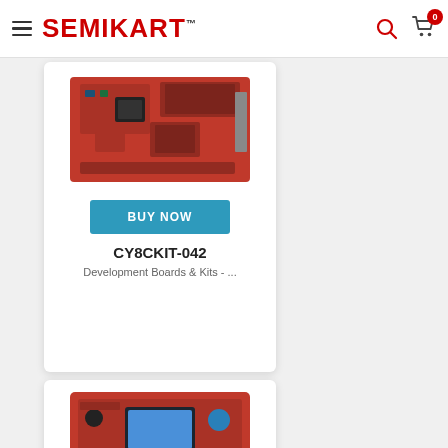SEMIKART
[Figure (photo): Product photo of CY8CKIT-042 development board (red PCB)]
CY8CKIT-042
Development Boards & Kits - ...
[Figure (photo): Product photo of a red development board with OLED display and capacitive buttons]